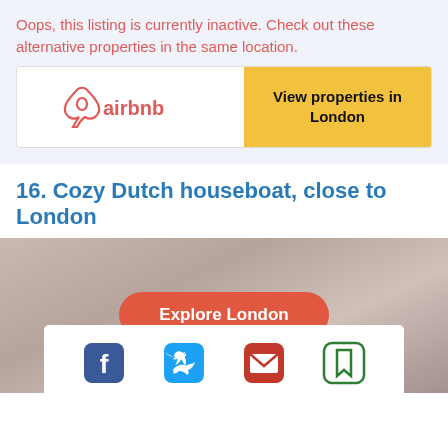Oops, this listing is currently inactive. Check out these alternative properties in the same location.
[Figure (logo): Airbnb logo with coral/red color and text 'airbnb', next to a yellow button saying 'View properties in London']
16. Cozy Dutch houseboat, close to London
[Figure (photo): Blurred/muted photo background with an orange-red rounded 'Explore London' button centered over it]
[Figure (infographic): Social share bar with Facebook, Twitter, email, and bookmark icons on a white background]